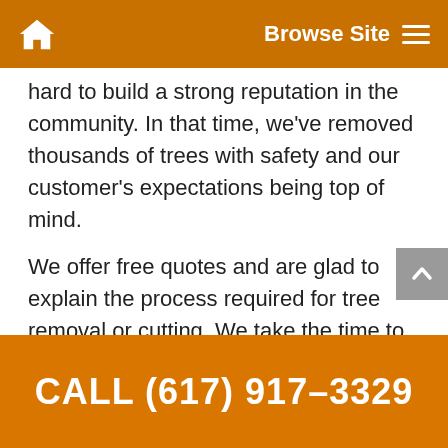Browse Site
hard to build a strong reputation in the community. In that time, we've removed thousands of trees with safety and our customer's expectations being top of mind.
We offer free quotes and are glad to explain the process required for tree removal or cutting. We take the time to educate homeowners on how to keep their trees healthy and flourishing. We'll also let you know if a tree needs to be removed if it poses a danger or threat.
To request a tree cutting estimate for your Sudbury MA
CALL (617) 917-3329